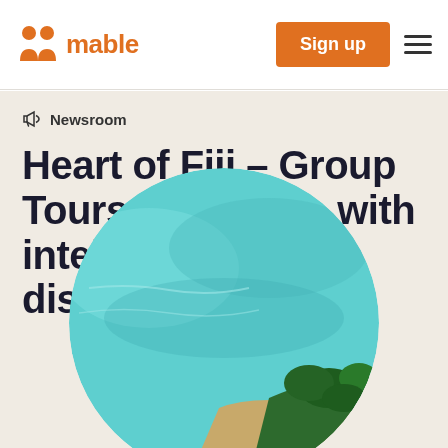mable — Sign up
Newsroom
Heart of Fiji – Group Tours for people with intellectual disabilities
[Figure (photo): Aerial circular photo showing turquoise tropical ocean water with a lush green palm-tree island/shoreline visible in the lower right portion of the circle.]